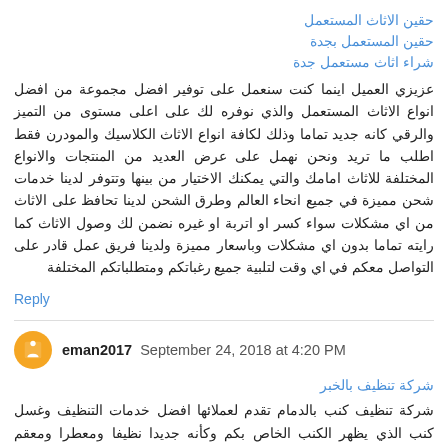حقين الاثاث المستعمل
حقين المستعمل بجدة
شراء اثاث مستعمل جدة
عزيزي العميل اينما كنت سنعمل على توفير افضل مجموعة من افضل انواع الاثاث المستعمل والذي نوفره لك على اعلى مستوى من التميز والرقي كانه جديد تماما وذلك لكافة انواع الاثاث الكلاسيك والمودرن فقط اطلب ما تريد ونحن نهمل على عرض العديد من المنتجات والانواع المختلفة للاثاث امامك والتي يمكنك الاختيار من بينها وتتوفر لدينا خدمات شحن مميزة في جميع انحاء العالم وطرق الشحن لدينا تحافظ على الاثاث من اي مشكلات سواء كسر او اتربة او غيره نضمن لك وصول الاثاث كما رايته تماما بدون اي مشكلات وباسعار مميزة ولدينا فريق عمل قادر على التواصل معكم في اي وقت لتلبية جميع رغباتكم ومتطلباتكم المختلفة
Reply
eman2017 September 24, 2018 at 4:20 PM
شركة تنظيف بالخبر
شركة تنظيف كنب بالدمام تقدم لعملائها افضل خدمات التنظيف وغسل كنب الذي يظهر الكنب الخاص بكم وكأنه جديدا نظيفا ومعطرا ومعقم ومعقم يظهرون امام ضيوفك بشكل مشرف دون اي